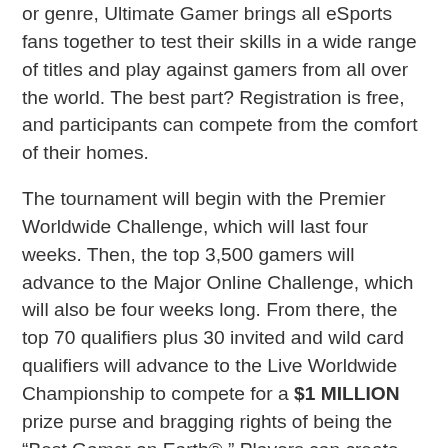or genre, Ultimate Gamer brings all eSports fans together to test their skills in a wide range of titles and play against gamers from all over the world. The best part? Registration is free, and participants can compete from the comfort of their homes.
The tournament will begin with the Premier Worldwide Challenge, which will last four weeks. Then, the top 3,500 gamers will advance to the Major Online Challenge, which will also be four weeks long. From there, the top 70 qualifiers plus 30 invited and wild card qualifiers will advance to the Live Worldwide Championship to compete for a $1 MILLION prize purse and bragging rights of being the “Best Gamer on Earth®.” Players can create custom leader boards to see where they